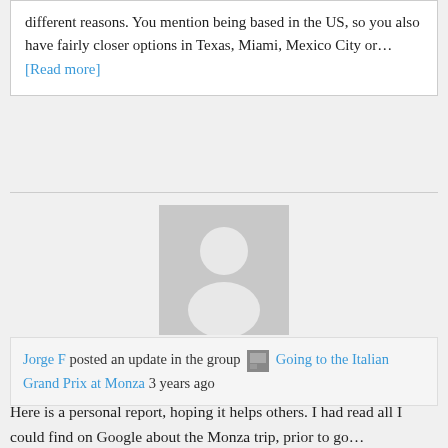different reasons. You mention being based in the US, so you also have fairly closer options in Texas, Miami, Mexico City or… [Read more]
[Figure (illustration): Generic user avatar placeholder — grey silhouette of a person on a light grey square background]
Jorge F posted an update in the group Going to the Italian Grand Prix at Monza 3 years ago
Here is a personal report, hoping it helps others. I had read all I could find on Google about the Monza trip, prior to go…
I have attended the Monza race this year. I must say it was very exciting. Although, I had no access to pits or track, so can't tell much about the cars, drivers, teams and so on.